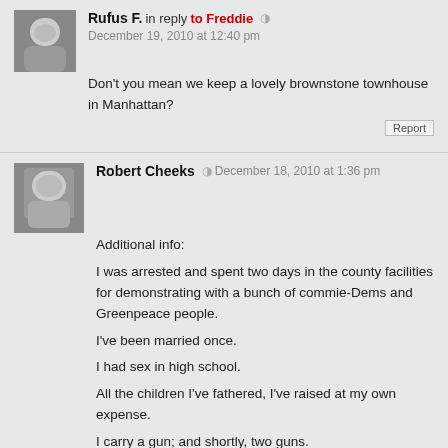Rufus F. in reply to Freddie — December 19, 2010 at 12:40 pm
Don't you mean we keep a lovely brownstone townhouse in Manhattan?
Robert Cheeks — December 18, 2010 at 1:36 pm
Additional info:
I was arrested and spent two days in the county facilities for demonstrating with a bunch of commie-Dems and Greenpeace people.
I've been married once.
I had sex in high school.
All the children I've fathered, I've raised at my own expense.
I carry a gun; and shortly, two guns.
Jaybird, you never asked me to be your f/b friend? That one hurt.
The gummint knows who all you guys/girls are and they're watching you!